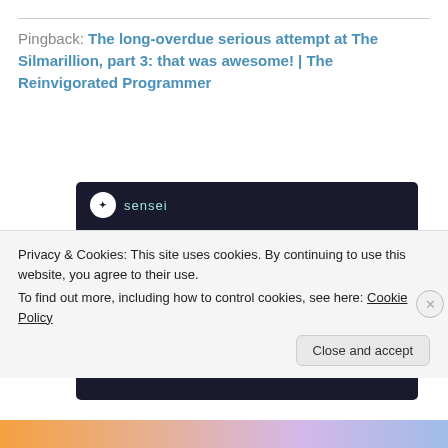Pingback: The long-overdue serious attempt at The Silmarillion, part 3: that was awesome! | The Reinvigorated Programmer
[Figure (screenshot): Advertisement banner with dark background showing Sensei brand logo, headline 'Launch your online course with WordPress' in teal text, and a 'Learn More' teal button.]
Privacy & Cookies: This site uses cookies. By continuing to use this website, you agree to their use.
To find out more, including how to control cookies, see here: Cookie Policy